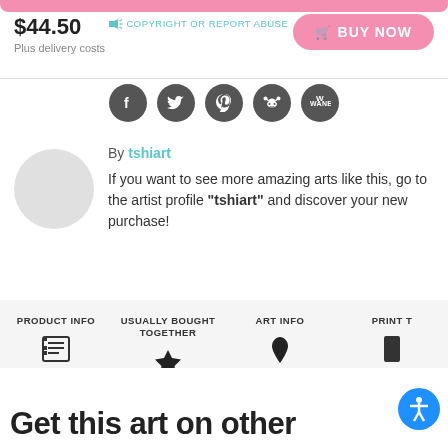$44.50
Plus delivery costs
COPYRIGHT OR REPORT ABUSE
BUY NOW
[Figure (other): Social share buttons: Facebook, Twitter, Pinterest, Reddit, Wanelo]
By tshiart
If you want to see more amazing arts like this, go to the artist profile "tshiart" and discover your new purchase!
PRODUCT INFO
USUALLY BOUGHT TOGETHER
ART INFO
PRINT T
Get this art on other